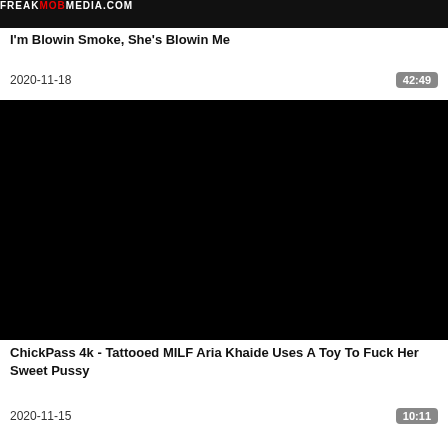[Figure (photo): Top partial thumbnail image with FREAKMO MEDIA.COM logo text in top right corner]
I'm Blowin Smoke, She's Blowin Me
2020-11-18    42:49
[Figure (photo): Black thumbnail image for video]
ChickPass 4k - Tattooed MILF Aria Khaide Uses A Toy To Fuck Her Sweet Pussy
2020-11-15    10:11